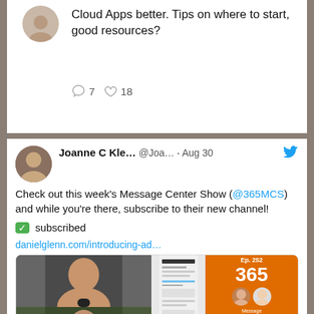Cloud Apps better. Tips on where to start, good resources?
7  18
Joanne C Kle... @Joa... · Aug 30
Check out this week's Message Center Show (@365MCS) and while you're there, subscribe to their new channel!
✅ subscribed
danielglenn.com/introducing-ad…
[Figure (screenshot): Preview card showing 365 Message Center Show episode 252 about Introducing Adoption Score, with video thumbnails of hosts on left and orange branding on right]
danielglenn.com